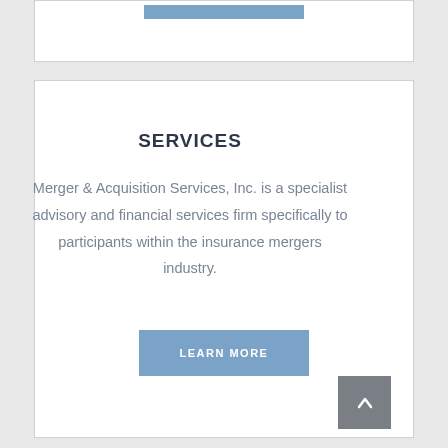SERVICES
Merger & Acquisition Services, Inc. is a specialist advisory and financial services firm specifically to participants within the insurance mergers industry.
LEARN MORE